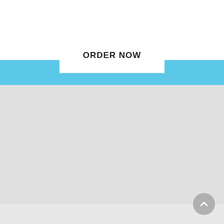[Figure (logo): Dilworth Grille circular logo with orange ring, city skyline silhouette, 'EST. 2004' text, and 'DILWORTH GRILLE' text on black background]
[Figure (other): Hamburger menu icon (three horizontal lines) in top right corner]
[Figure (other): Light blue horizontal banner bar]
ORDER NOW
[Figure (other): Light gray main content area filling the lower portion of the page]
[Figure (other): Circular scroll-to-top button with upward chevron arrow in bottom right corner]